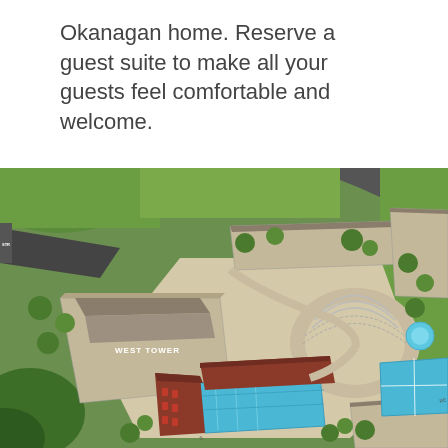Okanagan home. Reserve a guest suite to make all your guests feel comfortable and welcome.
[Figure (illustration): Aerial site plan / bird's-eye view rendering of a residential development showing building rooftops (labeled WEST TOWER), swimming pool, tennis court, landscaped gardens, driveways, and pathways surrounded by green grass and trees.]